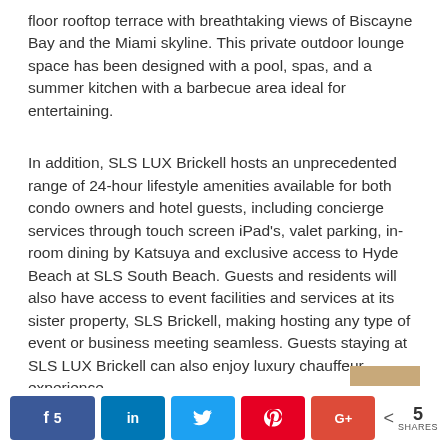floor rooftop terrace with breathtaking views of Biscayne Bay and the Miami skyline. This private outdoor lounge space has been designed with a pool, spas, and a summer kitchen with a barbecue area ideal for entertaining.
In addition, SLS LUX Brickell hosts an unprecedented range of 24-hour lifestyle amenities available for both condo owners and hotel guests, including concierge services through touch screen iPad's, valet parking, in-room dining by Katsuya and exclusive access to Hyde Beach at SLS South Beach. Guests and residents will also have access to event facilities and services at its sister property, SLS Brickell, making hosting any type of event or business meeting seamless. Guests staying at SLS LUX Brickell can also enjoy luxury chauffeur experience